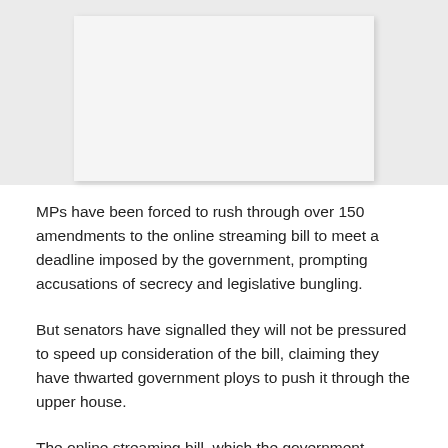[Figure (photo): A placeholder image region showing a light gray background with a white/light card inset, representing a photo related to the online streaming bill article.]
MPs have been forced to rush through over 150 amendments to the online streaming bill to meet a deadline imposed by the government, prompting accusations of secrecy and legislative bungling.
But senators have signalled they will not be pressured to speed up consideration of the bill, claiming they have thwarted government ploys to push it through the upper house.
The online streaming bill, which the government rushed